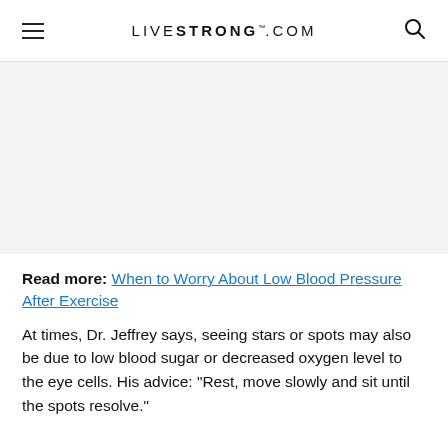LIVESTRONG.COM
[Figure (other): Grey advertisement/banner placeholder area]
Read more: When to Worry About Low Blood Pressure After Exercise
At times, Dr. Jeffrey says, seeing stars or spots may also be due to low blood sugar or decreased oxygen level to the eye cells. His advice: "Rest, move slowly and sit until the spots resolve."